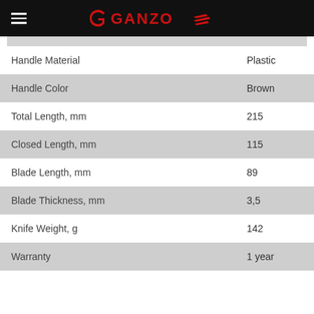GANZO
| Specification | Value |
| --- | --- |
| Handle Material | Plastic |
| Handle Color | Brown |
| Total Length, mm | 215 |
| Closed Length, mm | 115 |
| Blade Length, mm | 89 |
| Blade Thickness, mm | 3,5 |
| Knife Weight, g | 142 |
| Warranty | 1 year |